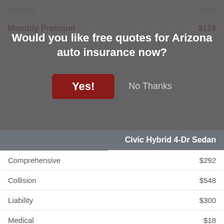Would you like free quotes for Arizona auto insurance now?
Yes!
No Thanks
|  | Civic Hybrid 4-Dr Sedan |
| --- | --- |
| Comprehensive | $292 |
| Collision | $548 |
| Liability | $300 |
| Medical | $18 |
| UM/UIM | $90 |
| Annual Premium | $1,273 |
| Monthly Premium | $106 |
Civic SI 2-Dr Coupe